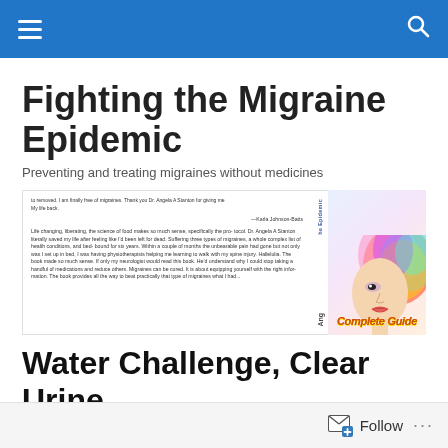Navigation bar with hamburger menu and search icon
Fighting the Migraine Epidemic
Preventing and treating migraines without medicines
[Figure (illustration): Book cover image showing text testimonials on the left page, a colorful spine, and a right cover with an illustrated woman's face and colorful hair with 'Complete Guide' text]
Water Challenge, Clear Urine, & Migraines
Follow